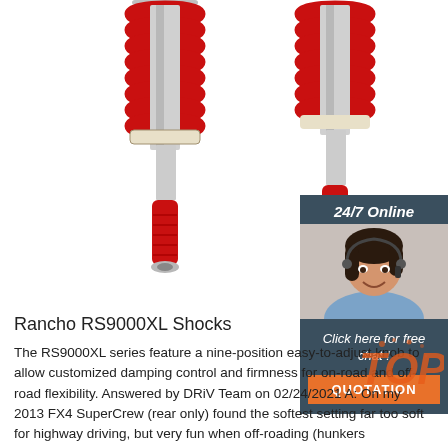[Figure (photo): Two red Rancho RS9000XL coilover shock absorbers with red springs and adjustable red lower bodies on white background]
[Figure (infographic): Chat widget overlay: dark blue-grey box with '24/7 Online' header, photo of woman with headset, 'Click here for free chat!' text, and orange QUOTATION button]
Rancho RS9000XL Shocks
The RS9000XL series feature a nine-position easy-to-adjust knob to allow customized damping control and firmness for on-road and off-road flexibility. Answered by DRiV Team on 02/24/2021 A: On my 2013 FX4 SuperCrew (rear only) found the softest setting far too soft for highway driving, but very fun when off-roading (hunkers